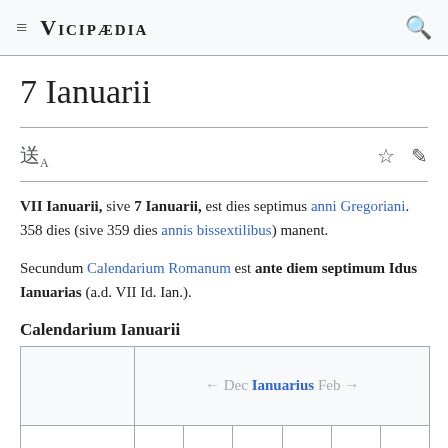Vicipædia
7 Ianuarii
VII Ianuarii, sive 7 Ianuarii, est dies septimus anni Gregoriani. 358 dies (sive 359 dies annis bissextilibus) manent.
Secundum Calendarium Romanum est ante diem septimum Idus Ianuarias (a.d. VII Id. Ian.).
Calendarium Ianuarii
|  | ← Dec Ianuarius Feb → |
| --- | --- |
|  |  |